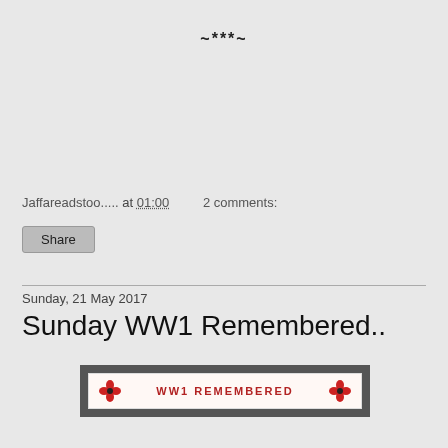~***~
Jaffareadstoo..... at 01:00   2 comments:
Share
Sunday, 21 May 2017
Sunday WW1 Remembered..
[Figure (other): WW1 Remembered banner with red poppies on each side and text 'WW1 REMEMBERED' in red on white background with dark grey border]